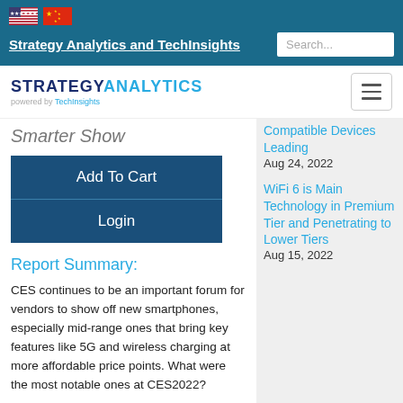Strategy Analytics and TechInsights
[Figure (logo): Strategy Analytics powered by TechInsights logo with hamburger menu button]
Smarter Show
Add To Cart
Login
Report Summary:
CES continues to be an important forum for vendors to show off new smartphones, especially mid-range ones that bring key features like 5G and wireless charging at more affordable price points.  What were the most notable ones at CES2022?
Compatible Devices Leading
Aug 24, 2022
WiFi 6 is Main Technology in Premium Tier and Penetrating to Lower Tiers
Aug 15, 2022